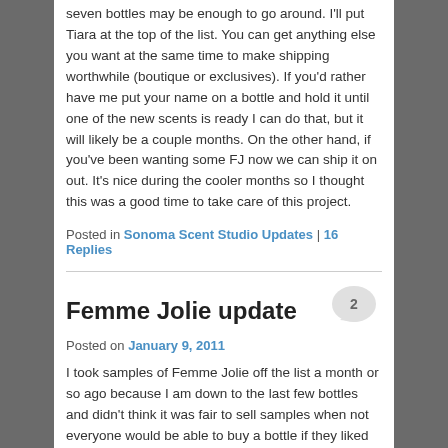seven bottles may be enough to go around. I'll put Tiara at the top of the list. You can get anything else you want at the same time to make shipping worthwhile (boutique or exclusives). If you'd rather have me put your name on a bottle and hold it until one of the new scents is ready I can do that, but it will likely be a couple months. On the other hand, if you've been wanting some FJ now we can ship it on out. It's nice during the cooler months so I thought this was a good time to take care of this project.
Posted in Sonoma Scent Studio Updates | 16 Replies
Femme Jolie update
Posted on January 9, 2011
I took samples of Femme Jolie off the list a month or so ago because I am down to the last few bottles and didn't think it was fair to sell samples when not everyone would be able to buy a bottle if they liked it. I'm thinking of doing